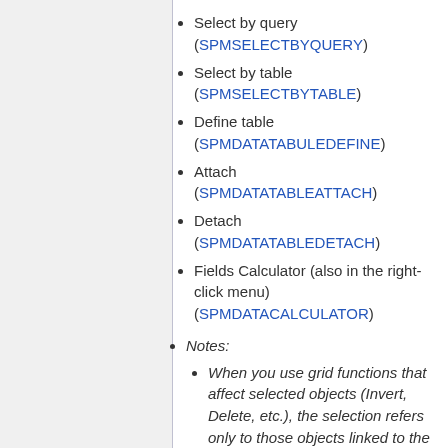Select by query (SPMSELECTBYQUERY)
Select by table (SPMSELECTBYTABLE)
Define table (SPMDATATABULEDEFINE)
Attach (SPMDATATABLEATTACH)
Detach (SPMDATATABLEDETACH)
Fields Calculator (also in the right-click menu) (SPMDATACALCULATOR)
Notes:
When you use grid functions that affect selected objects (Invert, Delete, etc.), the selection refers only to those objects linked to the current table. For example when